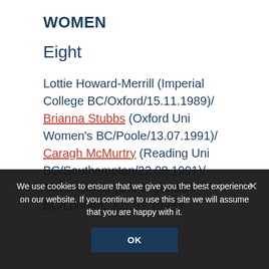WOMEN
Eight
Lottie Howard-Merrill (Imperial College BC/Oxford/15.11.1989)/ Brianna Stubbs (Oxford Uni Women's BC/Poole/13.07.1991)/ Caragh McMurtry (Reading Uni BC/Southampton/22.08.1991)/ Olivia Oakes (Uni of London BC/London.../01.01.1993)/
We use cookies to ensure that we give you the best experience on our website. If you continue to use this site we will assume that you are happy with it.